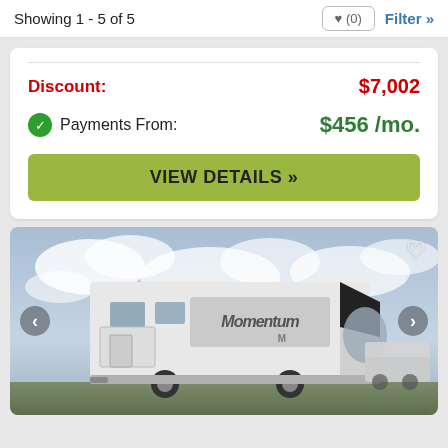Showing 1 - 5 of 5
Discount: $7,002
Payments From: $456 /mo.
VIEW DETAILS »
[Figure (photo): White Momentum fifth-wheel RV trailer photographed outdoors under cloudy sky, with navigation arrows on both sides and a heart/favorite icon in the top right corner]